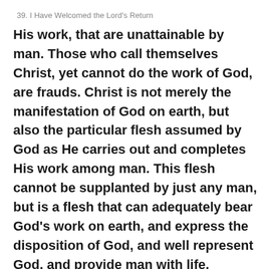39. I Have Welcomed the Lord's Return
His work, that are unattainable by man. Those who call themselves Christ, yet cannot do the work of God, are frauds. Christ is not merely the manifestation of God on earth, but also the particular flesh assumed by God as He carries out and completes His work among man. This flesh cannot be supplanted by just any man, but is a flesh that can adequately bear God's work on earth, and express the disposition of God, and well represent God, and provide man with life. Sooner or later, those who impersonate Christ will all fall, for although they claim to be Christ, they possess none of the essence of